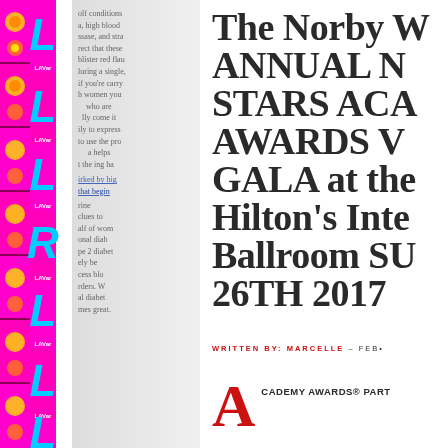[Figure (illustration): Decorative left strip with repeating magenta/pink panels featuring floral imagery and cyan letter 'L' with 'LAVar' text labels]
olf conditions, a, high blood ssase, and stra rect that these blister red flau luring a single. if you're carry h women you who are lly come it ily to express to use the pro a helps t the ing ha irked by hig that begin rine clues to alf of wom onal diab pe 2 diabet ely be cess blo rders. W al diabet mes great
The Norby W ANNUAL N STARS ACA AWARDS V GALA at the Hilton's Inte Ballroom SU 26TH 2017
WRITTEN BY: MARCELLE - FEB•
A CADEMY AWARDS® PART